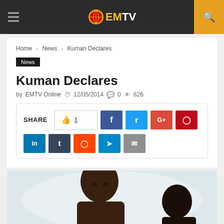EMTV
Home > News > Kuman Declares
News
Kuman Declares
by EMTV Online  12/05/2014  0  826
[Figure (infographic): Social share bar with like count of 1, and buttons for Facebook, Twitter, Google+, Pinterest, LinkedIn, Tumblr, Reddit, Telegram, and Email]
[Figure (photo): Photo of two men, one facing forward prominently in center, another partially visible on the right, against a light background]